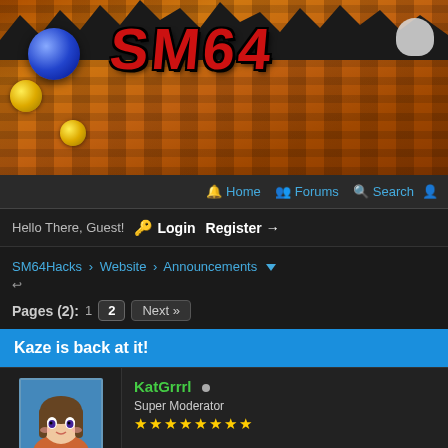[Figure (screenshot): SM64Hacks website banner with game graphics showing orange/brown rocky terrain, a blue ball on the left, yellow coins, and SM64 logo text in red]
Home  Forums  Search
Hello There, Guest!  Login  Register →
SM64Hacks › Website › Announcements
Pages (2):  1  2  Next »
Kaze is back at it!
KatGrrrl
Super Moderator
★★★★★★★★
07-02-2017, 01:05 PM
Recently Kaze Emanuar has been hard at work making the m